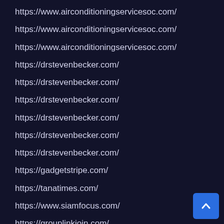https://www.airconditioningservicesoc.com/
https://www.airconditioningservicesoc.com/
https://www.airconditioningservicesoc.com/
https://drstevenbecker.com/
https://drstevenbecker.com/
https://drstevenbecker.com/
https://drstevenbecker.com/
https://drstevenbecker.com/
https://drstevenbecker.com/
https://gadgetstripe.com/
https://tanatimes.com/
https://www.siamfocus.com/
https://grouplinkjoin.com/
https://joelcleaning.com/
https://www.maxmunus.com/page/Kibana-Training-Co